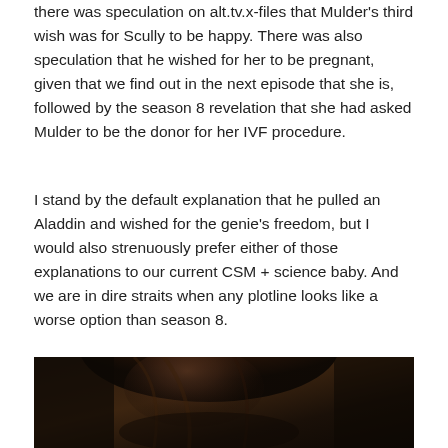there was speculation on alt.tv.x-files that Mulder's third wish was for Scully to be happy. There was also speculation that he wished for her to be pregnant, given that we find out in the next episode that she is, followed by the season 8 revelation that she had asked Mulder to be the donor for her IVF procedure.
I stand by the default explanation that he pulled an Aladdin and wished for the genie's freedom, but I would also strenuously prefer either of those explanations to our current CSM + science baby. And we are in dire straits when any plotline looks like a worse option than season 8.
[Figure (photo): A dark, moody photograph of a woman with reddish-brown hair, head tilted slightly downward, in low lighting.]